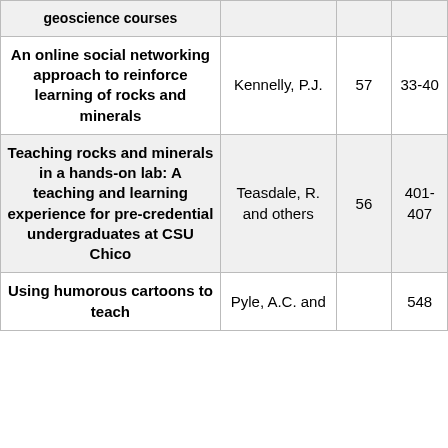| Title | Author | Volume | Pages |
| --- | --- | --- | --- |
| geoscience courses |  |  |  |
| An online social networking approach to reinforce learning of rocks and minerals | Kennelly, P.J. | 57 | 33-40 |
| Teaching rocks and minerals in a hands-on lab: A teaching and learning experience for pre-credential undergraduates at CSU Chico | Teasdale, R. and others | 56 | 401-407 |
| Using humorous cartoons to teach | Pyle, A.C. and |  | 548 |